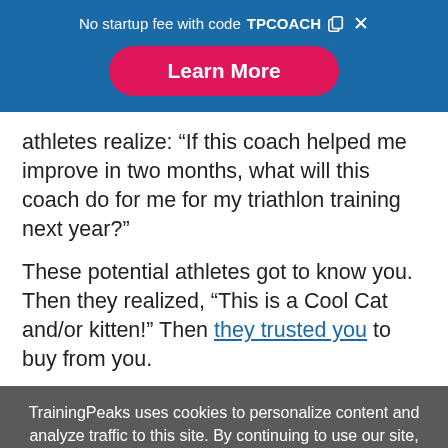No startup fee with code TPCOACH
Learn More
athletes realize: “If this coach helped me improve in two months, what will this coach do for me for my triathlon training next year?”

These potential athletes got to know you. Then they realized, “This is a Cool Cat and/or kitten!” Then they trusted you to buy from you.
TrainingPeaks uses cookies to personalize content and analyze traffic to this site. By continuing to use our site, you agree to our Privacy Policy.
Close